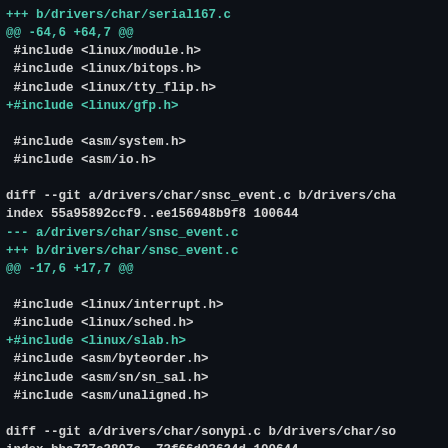+++ b/drivers/char/serial167.c
@@ -64,6 +64,7 @@
 #include <linux/module.h>
 #include <linux/bitops.h>
 #include <linux/tty_flip.h>
+#include <linux/gfp.h>

 #include <asm/system.h>
 #include <asm/io.h>

diff --git a/drivers/char/snsc_event.c b/drivers/char/snsc_event.c
index 55a95892ccf9..ee156948b9f8 100644
--- a/drivers/char/snsc_event.c
+++ b/drivers/char/snsc_event.c
@@ -17,6 +17,7 @@

 #include <linux/interrupt.h>
 #include <linux/sched.h>
+#include <linux/slab.h>
 #include <asm/byteorder.h>
 #include <asm/sn/sn_sal.h>
 #include <asm/unaligned.h>

diff --git a/drivers/char/sonypi.c b/drivers/char/sonypi.c
index bba727c3807e..73f66d03624d 100644
--- a/drivers/char/sonypi.c
+++ b/drivers/char/sonypi.c
@@ -50,6 +50,7 @@
 #include <linux/err.h>
 #include <linux/kfifo.h>
 #include <linux/...